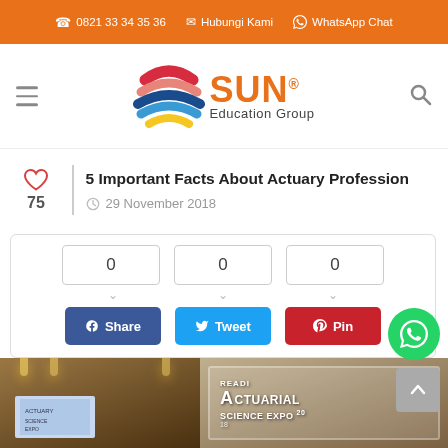0821 33 34 35 36   Hubungi Kami   WhatsApp Chat
[Figure (logo): SUN Education Group logo with multicolor globe icon and orange SUN text]
5 Important Facts About Actuary Profession
29 November 2018
0   0   0   Share   Tweet   Pin